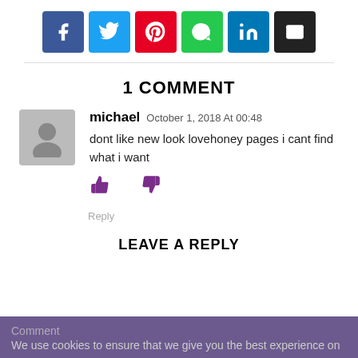[Figure (infographic): Row of six social share buttons: Facebook (blue), Twitter (cyan), Pinterest (red), WhatsApp (green), LinkedIn (blue), Email (black)]
1 COMMENT
michael  October 1, 2018 At 00:48
dont like new look lovehoney pages i cant find what i want
Reply
LEAVE A REPLY
We use cookies to ensure that we give you the best experience on